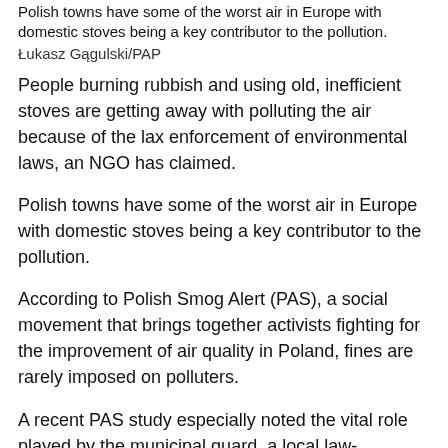Polish towns have some of the worst air in Europe with domestic stoves being a key contributor to the pollution.
Łukasz Gągulski/PAP
People burning rubbish and using old, inefficient stoves are getting away with polluting the air because of the lax enforcement of environmental laws, an NGO has claimed.
Polish towns have some of the worst air in Europe with domestic stoves being a key contributor to the pollution.
According to Polish Smog Alert (PAS), a social movement that brings together activists fighting for the improvement of air quality in Poland, fines are rarely imposed on polluters.
A recent PAS study especially noted the vital role played by the municipal guard, a local law-enforcement agency, in enforcing anti-smog regulations. However, the guard existed in only one-fifth of the 167 municipalities which were surveyed.